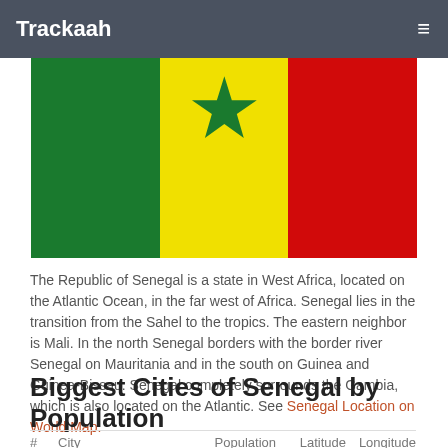Trackaah
[Figure (illustration): Flag of Senegal — three vertical stripes: green, yellow (with green star at top center), red]
The Republic of Senegal is a state in West Africa, located on the Atlantic Ocean, in the far west of Africa. Senegal lies in the transition from the Sahel to the tropics. The eastern neighbor is Mali. In the north Senegal borders with the border river Senegal on Mauritania and in the south on Guinea and Guinea-Bissau. Senegal completely surrounds the Gambia, which is also located on the Atlantic. See Senegal Location on World Map.
Biggest Cities of Senegal by Population
| # | City | Population | Latitude | Longitude |
| --- | --- | --- | --- | --- |